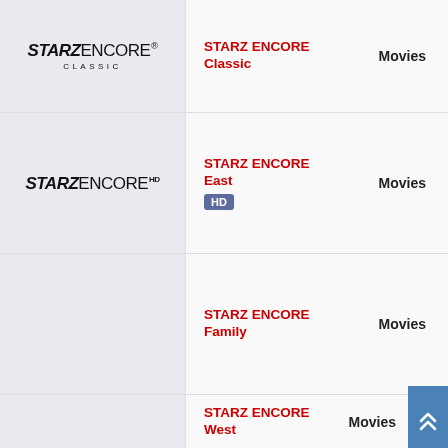[Figure (logo): STARZ ENCORE CLASSIC logo]
STARZ ENCORE Classic
Movies
[Figure (logo): STARZ ENCORE HD logo]
STARZ ENCORE East HD
Movies
[Figure (logo): STARZ ENCORE (blank/no logo shown)]
STARZ ENCORE Family
Movies
[Figure (logo): STARZ ENCORE (blank/no logo shown)]
STARZ ENCORE West
Movies